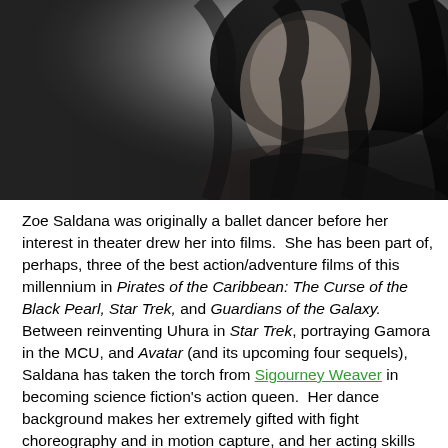[Figure (photo): Black and white portrait photo of Zoe Saldana, showing her face and upper body, with dark curly hair, looking over her shoulder]
Zoe Saldana was originally a ballet dancer before her interest in theater drew her into films.  She has been part of, perhaps, three of the best action/adventure films of this millennium in Pirates of the Caribbean: The Curse of the Black Pearl, Star Trek, and Guardians of the Galaxy. Between reinventing Uhura in Star Trek, portraying Gamora in the MCU, and Avatar (and its upcoming four sequels), Saldana has taken the torch from Sigourney Weaver in becoming science fiction's action queen.  Her dance background makes her extremely gifted with fight choreography and in motion capture, and her acting skills